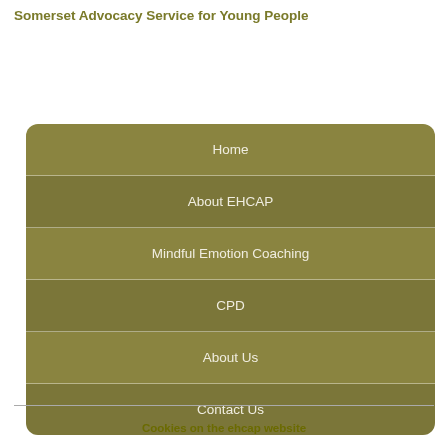Somerset Advocacy Service for Young People
Home
About EHCAP
Mindful Emotion Coaching
CPD
About Us
Contact Us
Cookies on the ehcap website